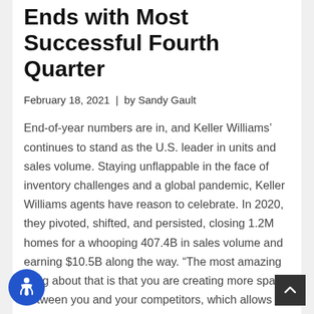Ends with Most Successful Fourth Quarter
February 18, 2021  |  by Sandy Gault
End-of-year numbers are in, and Keller Williams' continues to stand as the U.S. leader in units and sales volume. Staying unflappable in the face of inventory challenges and a global pandemic, Keller Williams agents have reason to celebrate. In 2020, they pivoted, shifted, and persisted, closing 1.2M homes for a whooping 407.4B in sales volume and earning $10.5B along the way. “The most amazing thing about that is that you are creating more space between you and your competitors, which allows …